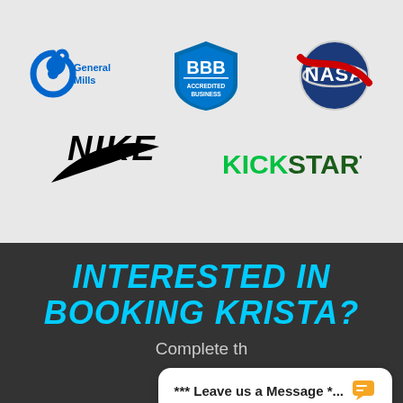[Figure (logo): General Mills logo - blue swirl icon with 'General Mills' text in blue]
[Figure (logo): BBB Accredited Business logo - blue and white shield with BBB letters and 'Accredited Business' text]
[Figure (logo): NASA logo - blue circular meatball logo with red swoosh and NASA text]
[Figure (logo): Nike logo - black swoosh and NIKE wordmark in italic black]
[Figure (logo): Kickstarter logo - KICK in green and STARTER in dark green]
INTERESTED IN BOOKING KRISTA?
Complete th
*** Leave us a Message *...